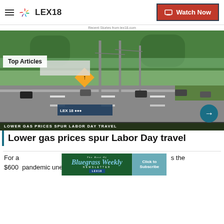LEX18 — Watch Now
Recent Stories from lex18.com
[Figure (screenshot): Highway photo showing traffic on a multi-lane road with green trees in background and a yellow merge warning sign. Overlay text reads: Top Articles / LOWER GAS PRICES SPUR LABOR DAY TRAVEL. A teal arrow circle is in the bottom right.]
Lower gas prices spur Labor Day travel
[Figure (other): Advertisement banner: The Best Of Bluegrass Weekly Newsletter — LEX18. Click to Subscribe.]
For a... s the $600 pandemic unemployment assistance, instead